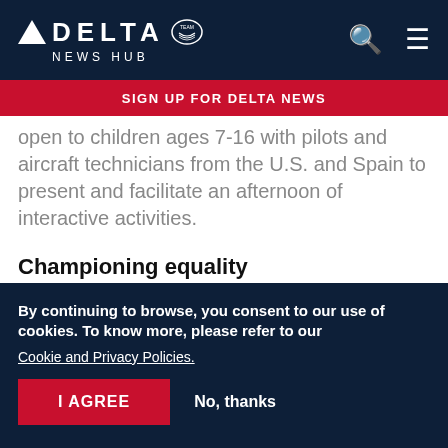DELTA NEWS HUB
SIGN UP FOR DELTA NEWS
open to children ages 7-16 with pilots and aircraft technicians from the U.S. and Spain to present and facilitate an afternoon of interactive activities.
Championing equality
[Figure (photo): Partial photo of aircraft with white rounded surface visible]
By continuing to browse, you consent to our use of cookies. To know more, please refer to our Cookie and Privacy Policies.
I AGREE   No, thanks